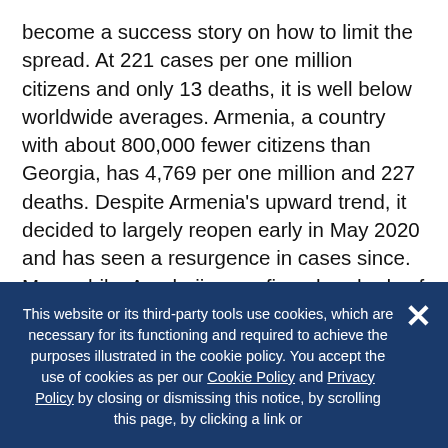become a success story on how to limit the spread. At 221 cases per one million citizens and only 13 deaths, it is well below worldwide averages. Armenia, a country with about 800,000 fewer citizens than Georgia, has 4,769 per one million and 227 deaths. Despite Armenia's upward trend, it decided to largely reopen early in May 2020 and has seen a resurgence in cases since. Meanwhile, Azerbaijan confirms hundreds of new cases every day and remains in lockdown. What policies helped Georgia stay on top of the coronavirus, and what could the rest do to reverse the trend?
This website or its third-party tools use cookies, which are necessary for its functioning and required to achieve the purposes illustrated in the cookie policy. You accept the use of cookies as per our Cookie Policy and Privacy Policy by closing or dismissing this notice, by scrolling this page, by clicking a link or